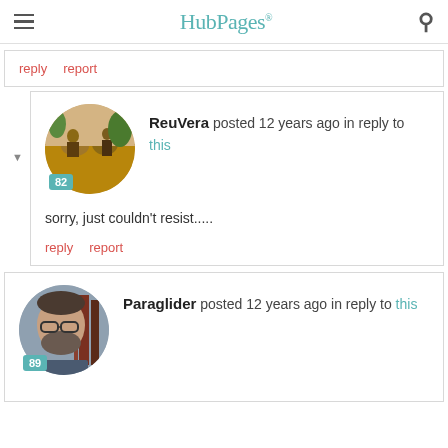HubPages
reply   report
[Figure (photo): User avatar of ReuVera showing people riding camels, circular crop, with badge '82']
ReuVera posted 12 years ago in reply to this
sorry, just couldn't resist.....
reply   report
[Figure (photo): User avatar of Paraglider showing a man with glasses, circular crop, with badge '89']
Paraglider posted 12 years ago in reply to this